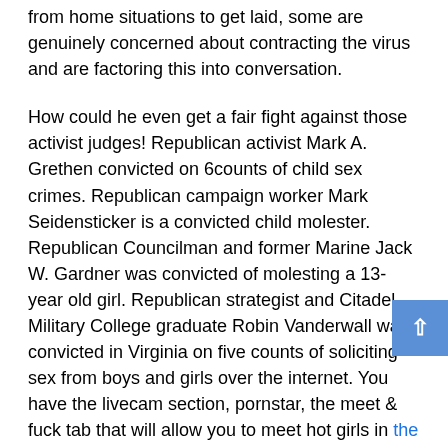from home situations to get laid, some are genuinely concerned about contracting the virus and are factoring this into conversation.
How could he even get a fair fight against those activist judges! Republican activist Mark A. Grethen convicted on 6counts of child sex crimes. Republican campaign worker Mark Seidensticker is a convicted child molester. Republican Councilman and former Marine Jack W. Gardner was convicted of molesting a 13-year old girl. Republican strategist and Citadel Military College graduate Robin Vanderwall was convicted in Virginia on five counts of soliciting sex from boys and girls over the internet. You have the livecam section, pornstar, the meet & fuck tab that will allow you to meet hot girls in the hub porno real world and have some actual good old sex, then there is a community you can be part of and, lastly, there is the photos and GIFs tab that is very exciting. The best part is that it is very easy and convenient to find a person